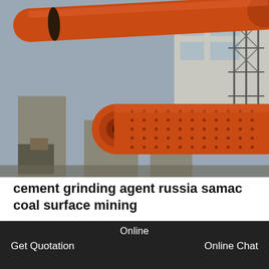[Figure (photo): Industrial cement grinding mill equipment — large orange cylindrical rotary drum/ball mill machinery at a construction or manufacturing site, with concrete structures and steel scaffolding in background]
cement grinding agent russia samac coal surface mining
grinders and mills in korea – - Coal Surface Mining - SAMAC. grinders and mills in korea ... Manufacturers ... South Korea Grinder, ... 2009, 327 sets of ZGM...
Online  Get Quotation  Online Chat